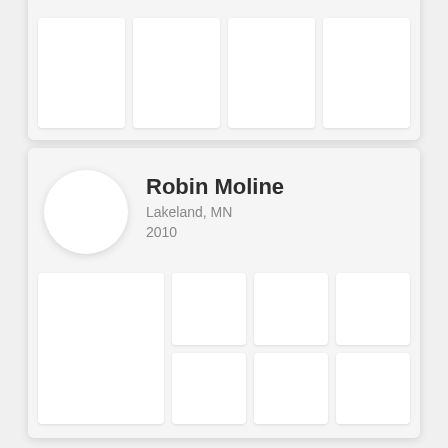[Figure (screenshot): Partial top card showing a grid of white image cells on a light gray card background]
[Figure (screenshot): User profile card for Robin Moline from Lakeland, MN, joined 2010, with a circular avatar and a grid of photo cells below]